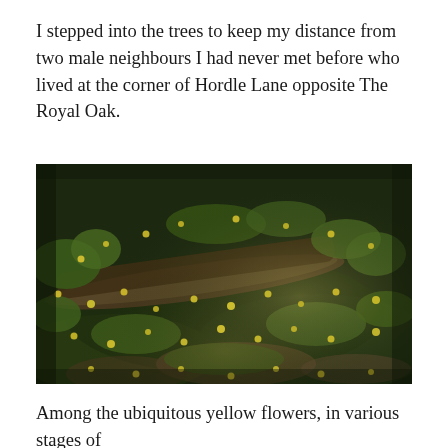I stepped into the trees to keep my distance from two male neighbours I had never met before who lived at the corner of Hordle Lane opposite The Royal Oak.
[Figure (photo): A close-up ground-level photograph of a woodland floor covered with small yellow flowers (possibly lesser celandine), green vegetation, and a fallen log or branch running diagonally across the scene. The image is taken in dappled natural light.]
Among the ubiquitous yellow flowers, in various stages of